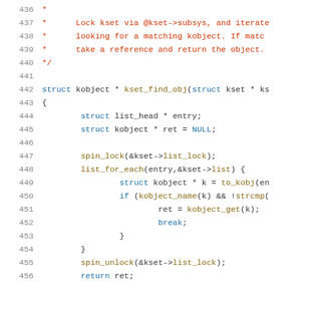436  *
437  *      Lock kset via @kset->subsys, and iterate
438  *      looking for a matching kobject. If match
439  *      take a reference and return the object.
440  */
441
442  struct kobject * kset_find_obj(struct kset * ks
443  {
444          struct list_head * entry;
445          struct kobject * ret = NULL;
446
447          spin_lock(&kset->list_lock);
448          list_for_each(entry,&kset->list) {
449                  struct kobject * k = to_kobj(en
450                  if (kobject_name(k) && !strcmp(
451                          ret = kobject_get(k);
452                          break;
453                  }
454          }
455          spin_unlock(&kset->list_lock);
456          return ret;